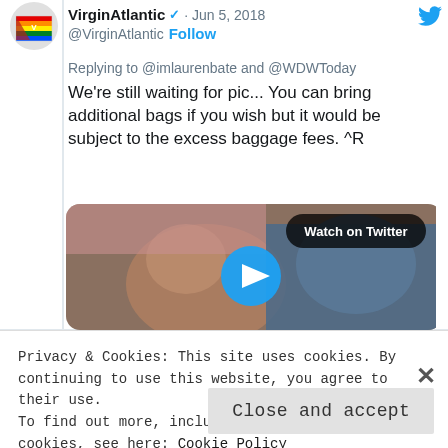VirginAtlantic ✓ · Jun 5, 2018
@VirginAtlantic · Follow
Replying to @imlaurenbate and @WDWToday
We're still waiting for pic... You can bring additional bags if you wish but it would be subject to the excess baggage fees. ^R
[Figure (screenshot): Video thumbnail with 'Watch on Twitter' badge and blue play button circle overlay, showing blurred figures]
Privacy & Cookies: This site uses cookies. By continuing to use this website, you agree to their use.
To find out more, including how to control cookies, see here: Cookie Policy
Close and accept